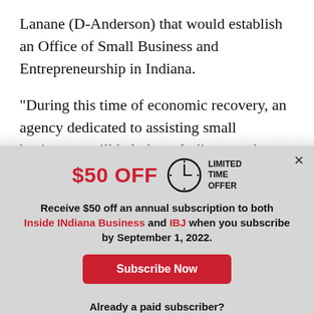Lanane (D-Anderson) that would establish an Office of Small Business and Entrepreneurship in Indiana.
“During this time of economic recovery, an agency dedicated to assisting small businesses will help keep Indiana on the path to prosperity.” Sen.
[Figure (infographic): Subscription offer modal overlay with clock icon, $50 OFF text, limited time offer, subscribe now button and log in button]